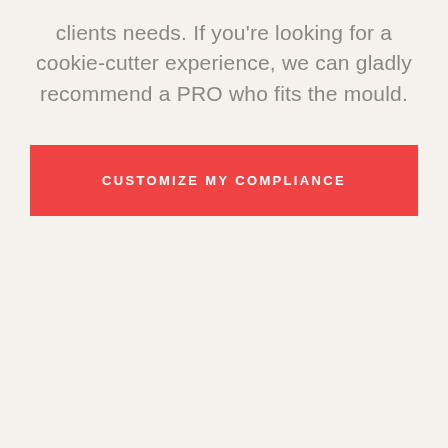clients needs. If you're looking for a cookie-cutter experience, we can gladly recommend a PRO who fits the mould.
CUSTOMIZE MY COMPLIANCE